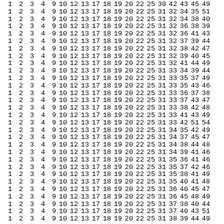| 1 | 2 | 3 | 4 | 9 | 10 | 12 | 13 | 17 | 18 | 19 | 20 | 22 | 25 | 30 | 42 | 43 | 45 | 49 |
| 1 | 2 | 3 | 4 | 9 | 10 | 12 | 13 | 17 | 18 | 19 | 20 | 22 | 25 | 31 | 32 | 34 | 35 | 51 |
| 1 | 2 | 3 | 4 | 9 | 10 | 12 | 13 | 17 | 18 | 19 | 20 | 22 | 25 | 31 | 32 | 34 | 38 | 40 |
| 1 | 2 | 3 | 4 | 9 | 10 | 12 | 13 | 17 | 18 | 19 | 20 | 22 | 25 | 31 | 32 | 36 | 38 | 39 |
| 1 | 2 | 3 | 4 | 9 | 10 | 12 | 13 | 17 | 18 | 19 | 20 | 22 | 25 | 31 | 32 | 36 | 41 | 43 |
| 1 | 2 | 3 | 4 | 9 | 10 | 12 | 13 | 17 | 18 | 19 | 20 | 22 | 25 | 31 | 32 | 37 | 39 | 44 |
| 1 | 2 | 3 | 4 | 9 | 10 | 12 | 13 | 17 | 18 | 19 | 20 | 22 | 25 | 31 | 32 | 38 | 42 | 47 |
| 1 | 2 | 3 | 4 | 9 | 10 | 12 | 13 | 17 | 18 | 19 | 20 | 22 | 25 | 31 | 32 | 39 | 40 | 45 |
| 1 | 2 | 3 | 4 | 9 | 10 | 12 | 13 | 17 | 18 | 19 | 20 | 22 | 25 | 31 | 32 | 41 | 44 | 49 |
| 1 | 2 | 3 | 4 | 9 | 10 | 12 | 13 | 17 | 18 | 19 | 20 | 22 | 25 | 31 | 33 | 34 | 39 | 44 |
| 1 | 2 | 3 | 4 | 9 | 10 | 12 | 13 | 17 | 18 | 19 | 20 | 22 | 25 | 31 | 33 | 35 | 37 | 49 |
| 1 | 2 | 3 | 4 | 9 | 10 | 12 | 13 | 17 | 18 | 19 | 20 | 22 | 25 | 31 | 33 | 35 | 43 | 46 |
| 1 | 2 | 3 | 4 | 9 | 10 | 12 | 13 | 17 | 18 | 19 | 20 | 22 | 25 | 31 | 33 | 36 | 37 | 38 |
| 1 | 2 | 3 | 4 | 9 | 10 | 12 | 13 | 17 | 18 | 19 | 20 | 22 | 25 | 31 | 33 | 37 | 43 | 47 |
| 1 | 2 | 3 | 4 | 9 | 10 | 12 | 13 | 17 | 18 | 19 | 20 | 22 | 25 | 31 | 33 | 38 | 42 | 48 |
| 1 | 2 | 3 | 4 | 9 | 10 | 12 | 13 | 17 | 18 | 19 | 20 | 22 | 25 | 31 | 33 | 41 | 43 | 49 |
| 1 | 2 | 3 | 4 | 9 | 10 | 12 | 13 | 17 | 18 | 19 | 20 | 22 | 25 | 31 | 33 | 42 | 51 | 54 |
| 1 | 2 | 3 | 4 | 9 | 10 | 12 | 13 | 17 | 18 | 19 | 20 | 22 | 25 | 31 | 34 | 35 | 42 | 49 |
| 1 | 2 | 3 | 4 | 9 | 10 | 12 | 13 | 17 | 18 | 19 | 20 | 22 | 25 | 31 | 34 | 37 | 45 | 47 |
| 1 | 2 | 3 | 4 | 9 | 10 | 12 | 13 | 17 | 18 | 19 | 20 | 22 | 25 | 31 | 34 | 38 | 44 | 48 |
| 1 | 2 | 3 | 4 | 9 | 10 | 12 | 13 | 17 | 18 | 19 | 20 | 22 | 25 | 31 | 34 | 39 | 41 | 46 |
| 1 | 2 | 3 | 4 | 9 | 10 | 12 | 13 | 17 | 18 | 19 | 20 | 22 | 25 | 31 | 35 | 36 | 41 | 46 |
| 1 | 2 | 3 | 4 | 9 | 10 | 12 | 13 | 17 | 18 | 19 | 20 | 22 | 25 | 31 | 35 | 37 | 42 | 46 |
| 1 | 2 | 3 | 4 | 9 | 10 | 12 | 13 | 17 | 18 | 19 | 20 | 22 | 25 | 31 | 35 | 38 | 41 | 49 |
| 1 | 2 | 3 | 4 | 9 | 10 | 12 | 13 | 17 | 18 | 19 | 20 | 22 | 25 | 31 | 35 | 40 | 41 | 48 |
| 1 | 2 | 3 | 4 | 9 | 10 | 12 | 13 | 17 | 18 | 19 | 20 | 22 | 25 | 31 | 36 | 40 | 45 | 47 |
| 1 | 2 | 3 | 4 | 9 | 10 | 12 | 13 | 17 | 18 | 19 | 20 | 22 | 25 | 31 | 36 | 45 | 48 | 49 |
| 1 | 2 | 3 | 4 | 9 | 10 | 12 | 13 | 17 | 18 | 19 | 20 | 22 | 25 | 31 | 37 | 38 | 40 | 44 |
| 1 | 2 | 3 | 4 | 9 | 10 | 12 | 13 | 17 | 18 | 19 | 20 | 22 | 25 | 31 | 37 | 40 | 43 | 51 |
| 1 | 2 | 3 | 4 | 9 | 10 | 12 | 13 | 17 | 18 | 19 | 20 | 22 | 25 | 31 | 38 | 39 | 44 | 49 |